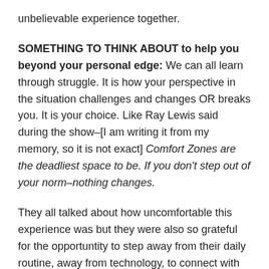unbelievable experience together.
SOMETHING TO THINK ABOUT to help you beyond your personal edge: We can all learn through struggle. It is how your perspective in the situation challenges and changes OR breaks you. It is your choice. Like Ray Lewis said during the show–[I am writing it from my memory, so it is not exact] Comfort Zones are the deadliest space to be. If you don't step out of your norm–nothing changes.
They all talked about how uncomfortable this experience was but they were also so grateful for the opportuntity to step away from their daily routine, away from technology, to connect with others and have the whole journey to learn even more about themselves while doing something so good.
How can we take this into our own lives? What can we do to